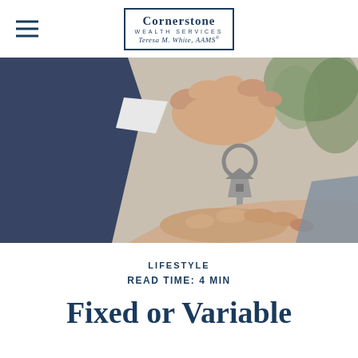Cornerstone Wealth Services — Teresa M. White, AAMS®
[Figure (photo): Close-up photo of a hand in a suit jacket holding a house-shaped key fob on a key ring, dropping it into another open palm below, against a blurred interior background.]
LIFESTYLE
READ TIME: 4 MIN
Fixed or Variable